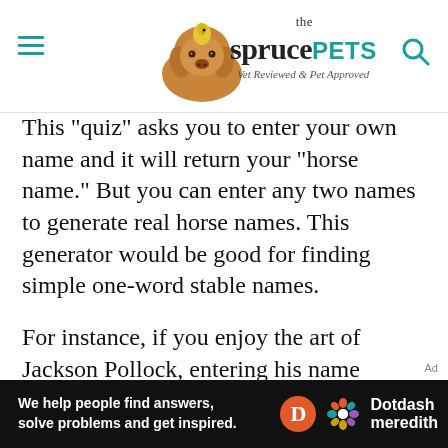the spruce PETS — Vet Reviewed & Pet Approved
This "quiz" asks you to enter your own name and it will return your "horse name." But you can enter any two names to generate real horse names. This generator would be good for finding simple one-word stable names.
For instance, if you enjoy the art of Jackson Pollock, entering his name results in Mosquito. When his name is shortened to Jack, the horse name becomes Trapper. Entering any combination of names can give you some interesting results.
[Figure (infographic): Dotdash Meredith advertisement banner: 'We help people find answers, solve problems and get inspired.' with Dotdash Meredith logo]